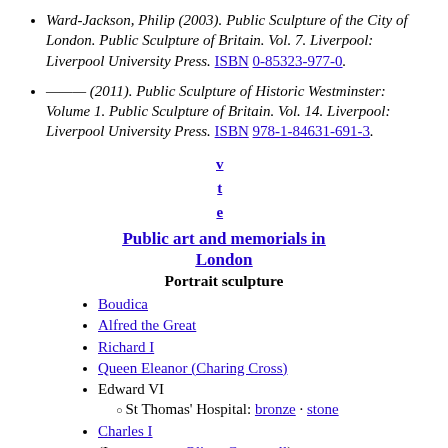Ward-Jackson, Philip (2003). Public Sculpture of the City of London. Public Sculpture of Britain. Vol. 7. Liverpool: Liverpool University Press. ISBN 0-85323-977-0.
——— (2011). Public Sculpture of Historic Westminster: Volume 1. Public Sculpture of Britain. Vol. 14. Liverpool: Liverpool University Press. ISBN 978-1-84631-691-3.
v
t
e
Public art and memorials in London
Portrait sculpture
Boudica
Alfred the Great
Richard I
Queen Eleanor (Charing Cross)
Edward VI
St Thomas' Hospital: bronze · stone
Charles I
(Interregnum: Oliver Cromwell)
Charles II